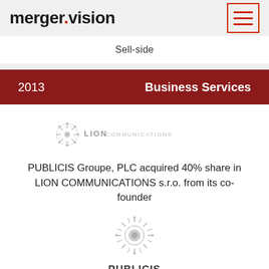merger.vision
Sell-side
2013    Business Services
[Figure (logo): Lion Communications logo with decorative emblem and text 'LION COMMUNICATIONS']
PUBLICIS Groupe, PLC acquired 40% share in LION COMMUNICATIONS s.r.o. from its co-founder
[Figure (logo): Publicis Groupe logo — stylized sun/lion emblem above text 'PUBLICIS GROUPE']